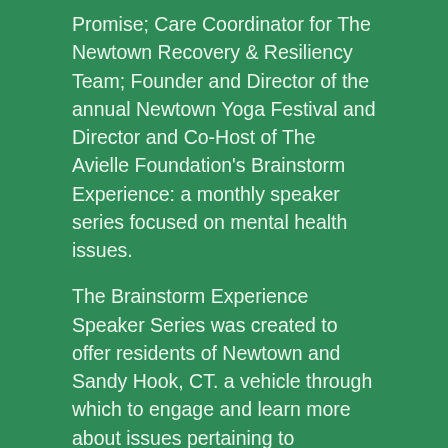Promise; Care Coordinator for The Newtown Recovery & Resiliency Team; Founder and Director of the annual Newtown Yoga Festival and Director and Co-Host of The Avielle Foundation's Brainstorm Experience: a monthly speaker series focused on mental health issues.
The Brainstorm Experience Speaker Series was created to offer residents of Newtown and Sandy Hook, CT. a vehicle through which to engage and learn more about issues pertaining to mental/brain health. Guest speakers included, Dr. Bessel van der Kolk ("The Body Keeps the Score"), Brene Brown, Jane Pauley (Living with Bi-Polar), Dan Harris (Meditation), Andrew Solomon ("Far From the Tree"), Ta-Nehisi Coates ("Between the World and Me") and